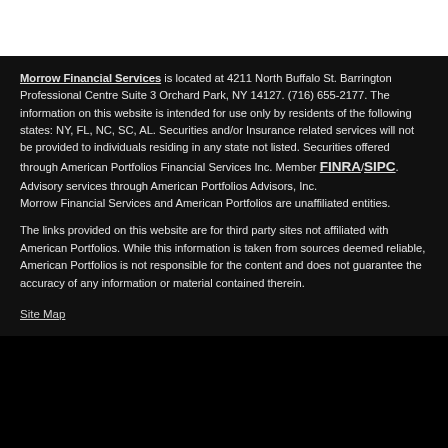Morrow Financial Services is located at 4211 North Buffalo St. Barrington Professional Centre Suite 3 Orchard Park, NY 14127. (716) 655-2177. The information on this website is intended for use only by residents of the following states: NY, FL, NC, SC, AL. Securities and/or Insurance related services will not be provided to individuals residing in any state not listed. Securities offered through American Portfolios Financial Services Inc. Member FINRA/SIPC. Advisory services through American Portfolios Advisors, Inc.
Morrow Financial Services and American Portfolios are unaffiliated entities.
The links provided on this website are for third party sites not affiliated with American Portfolios. While this information is taken from sources deemed reliable, American Portfolios is not responsible for the content and does not guarantee the accuracy of any information or material contained therein.
Site Map